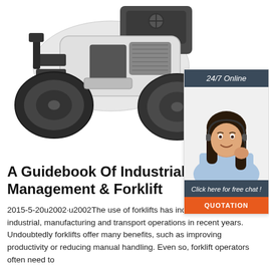[Figure (photo): Industrial road roller / compactor machine photographed on white background, showing a large white machine with heavy rollers and an operator cab]
[Figure (infographic): 24/7 Online chat widget showing a smiling female customer service agent wearing a headset, with dark blue header reading '24/7 Online', dark blue footer reading 'Click here for free chat!', and an orange button labeled 'QUOTATION']
A Guidebook Of Industrial Tra... Management & Forklift
2015-5-20u2002·u2002The use of forklifts has increased in many industrial, manufacturing and transport operations in recent years. Undoubtedly forklifts offer many benefits, such as improving productivity or reducing manual handling. Even so, forklift operators often need to